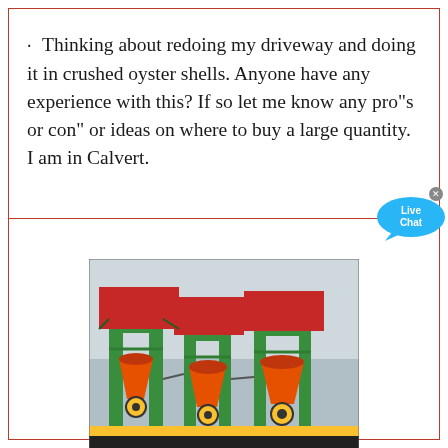· Thinking about redoing my driveway and doing it in crushed oyster shells. Anyone have any experience with this? If so let me know any pro"s or con" or ideas on where to buy a large quantity. I am in Calvert.
[Figure (photo): Industrial machinery — three large cone crushers (orange/red) on green metal frames/structures, photographed from below against an overcast sky.]
Amazon : crushed eggshells